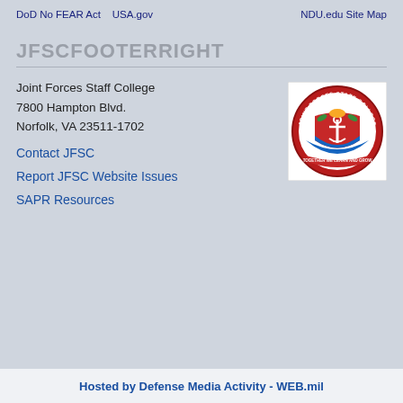DoD No FEAR Act   USA.gov   NDU.edu Site Map
JFSCFOOTERRIGHT
Joint Forces Staff College
7800 Hampton Blvd.
Norfolk, VA 23511-1702
[Figure (logo): Joint Forces Staff College circular seal/logo with red, blue, and gold colors]
Contact JFSC
Report JFSC Website Issues
SAPR Resources
Hosted by Defense Media Activity - WEB.mil